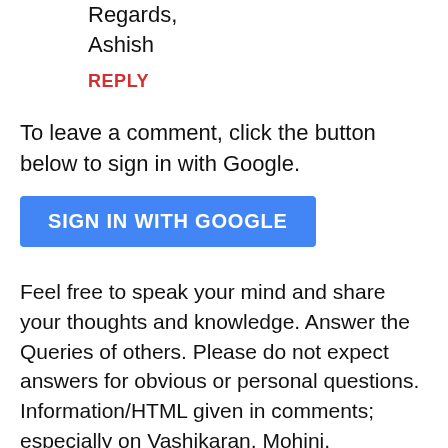Regards,
Ashish
REPLY
To leave a comment, click the button below to sign in with Google.
[Figure (other): Blue 'SIGN IN WITH GOOGLE' button]
Feel free to speak your mind and share your thoughts and knowledge. Answer the Queries of others. Please do not expect answers for obvious or personal questions. Information/HTML given in comments; especially on Vashikaran, Mohini, Yakshinis, Akarshan, Occult, Witchcraft, Hex and Voodoo Spells, Black Magic Mantra, Tantra, Jadu- Tona, Totka and Upay is not endorsed by this site See New Comment Policy